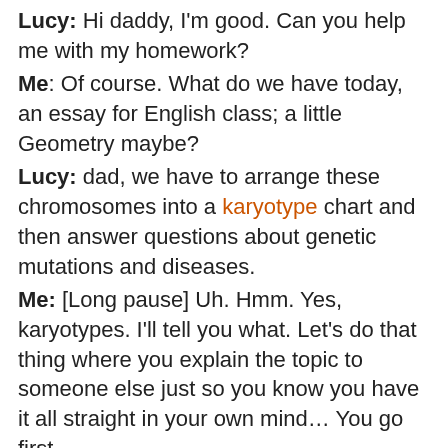Lucy: Hi daddy, I'm good. Can you help me with my homework?
Me: Of course. What do we have today, an essay for English class; a little Geometry maybe?
Lucy: dad, we have to arrange these chromosomes into a karyotype chart and then answer questions about genetic mutations and diseases.
Me: [Long pause] Uh. Hmm. Yes, karyotypes. I'll tell you what. Let's do that thing where you explain the topic to someone else just so you know you have it all straight in your own mind… You go first.
Lucy: You don't know what I'm talking about, do you daddy?
Me: [Longer pause] Of course I do. It's just that carry-pipes is a complicated subject. I want to make sure you've got it all down pat...